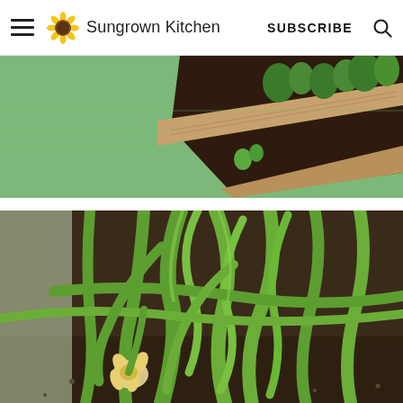Sungrown Kitchen  SUBSCRIBE
[Figure (photo): Raised wooden garden bed with dark soil and green plants, surrounded by green lawn grass]
[Figure (photo): Close-up of squash or zucchini plant stems and leaves growing from soil, with a yellow flower visible near the base]